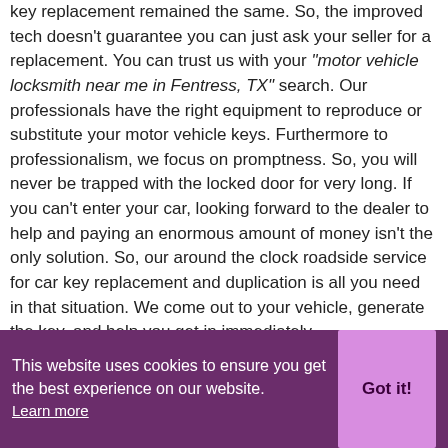key replacement remained the same. So, the improved tech doesn't guarantee you can just ask your seller for a replacement. You can trust us with your "motor vehicle locksmith near me in Fentress, TX" search. Our professionals have the right equipment to reproduce or substitute your motor vehicle keys. Furthermore to professionalism, we focus on promptness. So, you will never be trapped with the locked door for very long. If you can't enter your car, looking forward to the dealer to help and paying an enormous amount of money isn't the only solution. So, our around the clock roadside service for car key replacement and duplication is all you need in that situation. We come out to your vehicle, generate the key, and help you get in immediately.
[Figure (illustration): Small rounded square icon with a camera/lens symbol]
Car Locksmith Near Me Fentress, TX
This website uses cookies to ensure you get the best experience on our website. Learn more